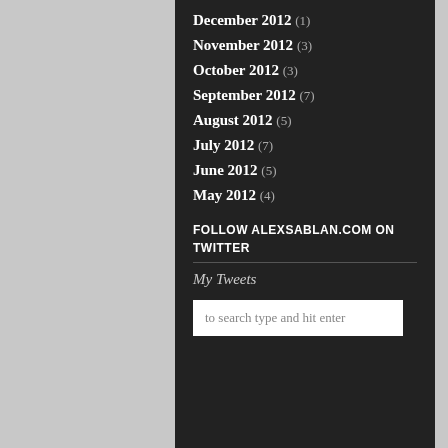December 2012 (1)
November 2012 (3)
October 2012 (3)
September 2012 (7)
August 2012 (5)
July 2012 (7)
June 2012 (5)
May 2012 (4)
FOLLOW ALEXSABLAN.COM ON TWITTER
My Tweets
to search type and hit enter